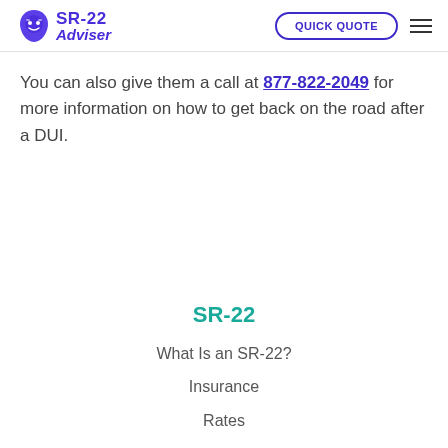SR-22 Adviser | QUICK QUOTE
You can also give them a call at 877-822-2049 for more information on how to get back on the road after a DUI.
SR-22
What Is an SR-22?
Insurance
Rates